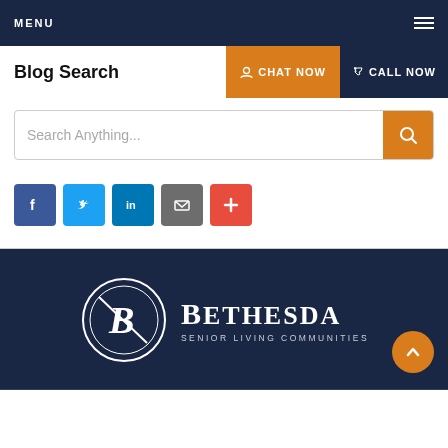MENU
Blog Search
CHAT NOW
CALL NOW
Search Anything...
[Figure (infographic): Social sharing icons: Facebook (blue), Twitter (light blue), LinkedIn (dark blue), Email (grey), Plus/More (red)]
[Figure (logo): Bethesda Senior Living Communities logo — circular B monogram in white on dark navy background, with BETHESDA in large serif text and SENIOR LIVING COMMUNITIES in small caps below]